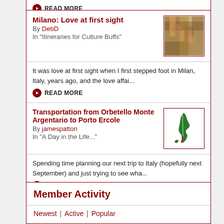READ MORE
Milano: Love at first sight
By DebD
In "Itineraries for Culture Buffs"
[Figure (photo): Thumbnail image of colorful artwork or painting]
It was love at first sight when I first stepped foot in Milan, Italy, years ago, and the love affai...
READ MORE
Transportation from Orbetello Monte Argentario to Porto Ercole
By jamespatton
In "A Day in the Life..."
[Figure (illustration): Thumbnail image of Italy map in green, white, and red colors]
Spending time planning our next trip to Italy (hopefully next September) and just trying to see wha...
READ MORE
Member Activity
Newest | Active | Popular